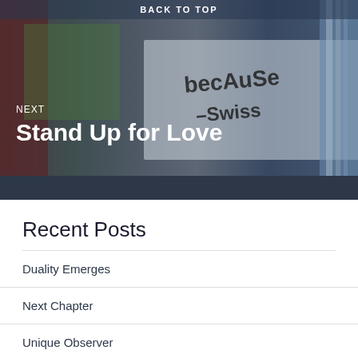BACK TO TOP
[Figure (photo): Banner image with graffiti showing 'because Swiss' text, overlaid with semi-transparent dark background]
NEXT
Stand Up for Love
Recent Posts
Duality Emerges
Next Chapter
Unique Observer
When You Just Do It
Deserving of Love